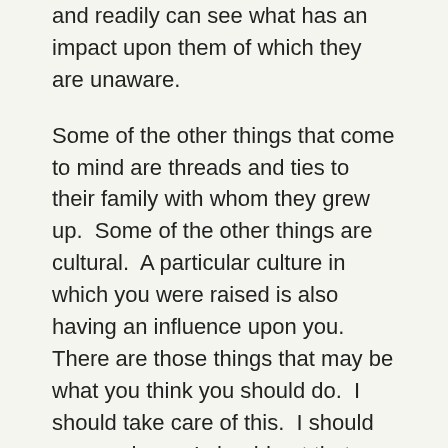and readily can see what has an impact upon them of which they are unaware.
Some of the other things that come to mind are threads and ties to their family with whom they grew up.  Some of the other things are cultural.  A particular culture in which you were raised is also having an influence upon you.  There are those things that may be what you think you should do.  I should take care of this.  I should go over here.  I should get that degree.  I should and you can fill that in if there is an answer for you.  So, the things that you feel like you should do that are not necessarily coming from your heart.
The next thing I ask is for you to become aware if there are energies from your past life that also have an influence upon you.  For many there were more